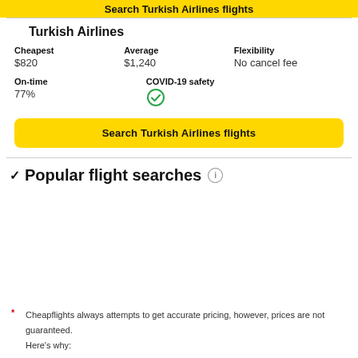Search Turkish Airlines flights (yellow bar top)
Turkish Airlines
| Cheapest | Average | Flexibility |
| --- | --- | --- |
| $820 | $1,240 | No cancel fee |
| On-time | COVID-19 safety |
| --- | --- |
| 77% | ✔ |
Search Turkish Airlines flights
Popular flight searches
Cheapflights always attempts to get accurate pricing, however, prices are not guaranteed.
Here's why: